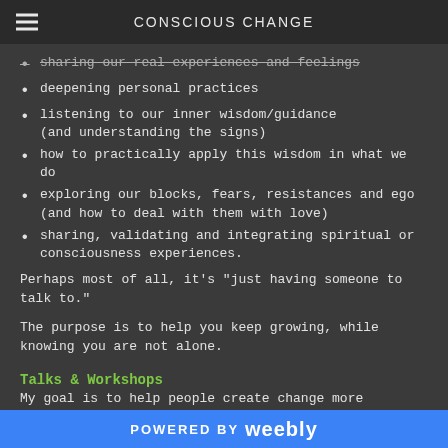CONSCIOUS CHANGE
sharing our real experiences and feelings
deepening personal practices
listening to our inner wisdom/guidance (and understanding the signs)
how to practically apply this wisdom in what we do
exploring our blocks, fears, resistances and ego (and how to deal with them with love)
sharing, validating and integrating spiritual or consciousness experiences.
Perhaps most of all, it's "just having someone to talk to."
The purpose is to help you keep growing, while knowing you are not alone.
Talks & Workshops
My goal is to help people create change more effectively - in
POWERED BY weebly